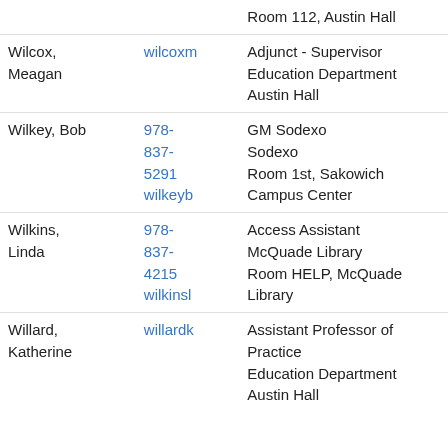| Name | Contact | Info |
| --- | --- | --- |
|  |  | Room 112, Austin Hall |
| Wilcox, Meagan | wilcoxm | Adjunct - Supervisor
Education Department
Austin Hall |
| Wilkey, Bob | 978-837-5291
wilkeyb | GM Sodexo
Sodexo
Room 1st, Sakowich Campus Center |
| Wilkins, Linda | 978-837-4215
wilkinsl | Access Assistant
McQuade Library
Room HELP, McQuade Library |
| Willard, Katherine | willardk | Assistant Professor of Practice
Education Department
Austin Hall |